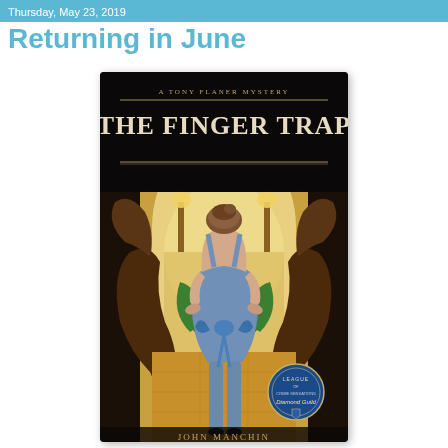Thursday, May 23, 2019
Returning in June
[Figure (photo): Book cover of 'The Finger Trap: A Tony Flaner Mystery' by John Manchin. Shows a woman in a backless blue dress with a bow at the waist, viewed from behind, standing in an elegant hotel lobby with ornate dragon sculptures on either side and tropical plants. A blue medallion badge for 'League of Crime Sensations Diamond Guild' appears in the bottom right corner.]